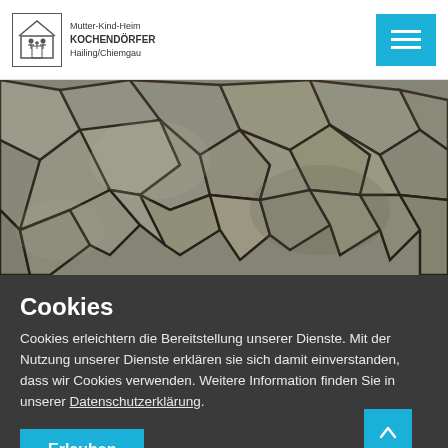[Figure (logo): Mutter-Kind-Heim Kochendörfer Hailing/Chiemgau logo with house/family icon]
[Figure (photo): Close-up photograph of cracked dry earth/mud texture with circular patterns]
Cookies
Cookies erleichtern die Bereitstellung unserer Dienste. Mit der Nutzung unserer Dienste erklären sie sich damit einverstanden, dass wir Cookies verwenden. Weitere Information finden Sie in unserer Datenschutzerklärung.
Erlauben